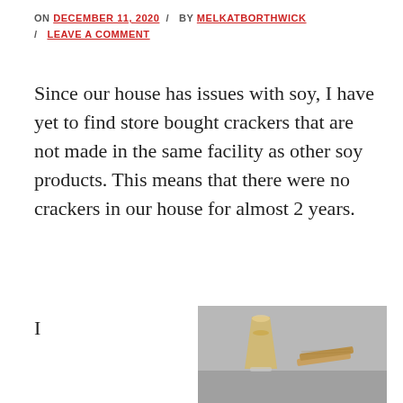ON DECEMBER 11, 2020 / BY MELKATBORTHWICK / LEAVE A COMMENT
Since our house has issues with soy, I have yet to find store bought crackers that are not made in the same facility as other soy products. This means that there were no crackers in our house for almost 2 years.
I
[Figure (photo): A glass of amber/yellow liquid (possibly juice or broth) next to crackers on a gray background]